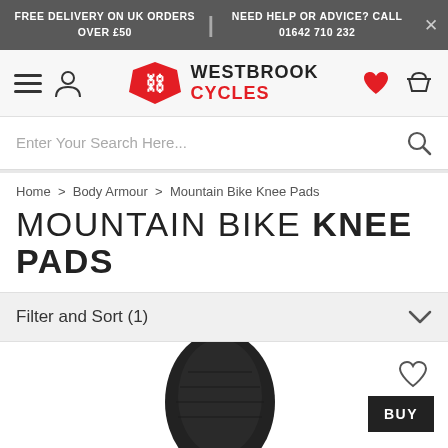FREE DELIVERY ON UK ORDERS OVER £50 | NEED HELP OR ADVICE? CALL 01642 710 232
[Figure (logo): Westbrook Cycles logo with navigation icons (hamburger menu, user icon, heart, basket)]
Enter Your Search Here...
Home > Body Armour > Mountain Bike Knee Pads
MOUNTAIN BIKE KNEE PADS
Filter and Sort (1)
[Figure (photo): Black mountain bike knee pad product photo, partially visible, with heart/wishlist icon and BUY button]